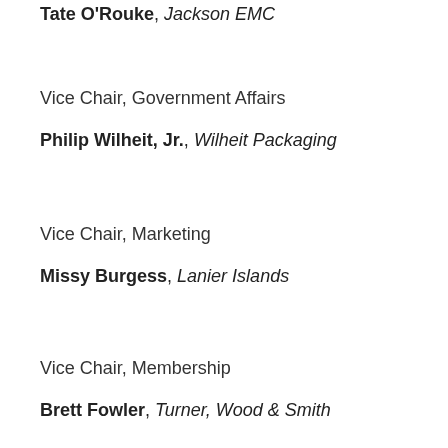Tate O'Rouke, Jackson EMC
Vice Chair, Government Affairs
Philip Wilheit, Jr., Wilheit Packaging
Vice Chair, Marketing
Missy Burgess, Lanier Islands
Vice Chair, Membership
Brett Fowler, Turner, Wood & Smith